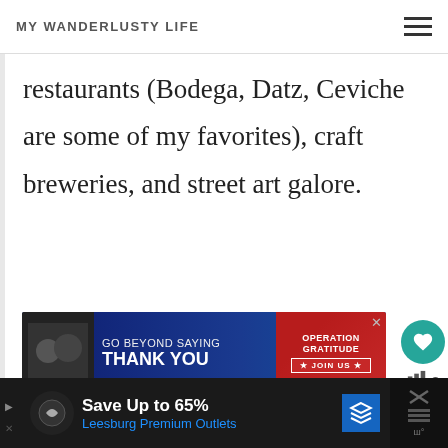MY WANDERLUSTY LIFE
restaurants (Bodega, Datz, Ceviche are some of my favorites), craft breweries, and street art galore.
[Figure (other): Advertisement banner: GO BEYOND SAYING THANK YOU - Operation Gratitude JOIN US]
St. Pete boasts great museums like the Chihuly Collection, the Dalí (the